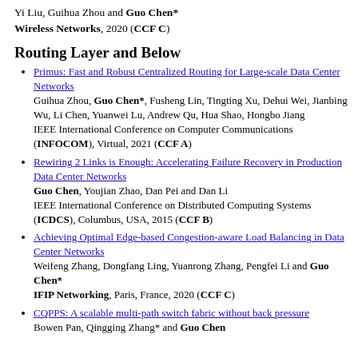Yi Liu, Guihua Zhou and Guo Chen* Wireless Networks, 2020 (CCF C)
Routing Layer and Below
Primus: Fast and Robust Centralized Routing for Large-scale Data Center Networks
Guihua Zhou, Guo Chen*, Fusheng Lin, Tingting Xu, Dehui Wei, Jianbing Wu, Li Chen, Yuanwei Lu, Andrew Qu, Hua Shao, Hongbo Jiang
IEEE International Conference on Computer Communications (INFOCOM), Virtual, 2021 (CCF A)
Rewiring 2 Links is Enough: Accelerating Failure Recovery in Production Data Center Networks
Guo Chen, Youjian Zhao, Dan Pei and Dan Li
IEEE International Conference on Distributed Computing Systems (ICDCS), Columbus, USA, 2015 (CCF B)
Achieving Optimal Edge-based Congestion-aware Load Balancing in Data Center Networks
Weifeng Zhang, Dongfang Ling, Yuanrong Zhang, Pengfei Li and Guo Chen*
IFIP Networking, Paris, France, 2020 (CCF C)
CQPPS: A scalable multi-path switch fabric without back pressure
Bowen Pan, Qingging Zhang* and Guo Chen